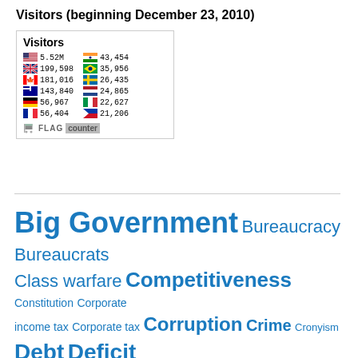Visitors (beginning December 23, 2010)
[Figure (infographic): Flag counter widget showing visitor counts by country: US 5.52M, India 43,454, UK 199,598, Brazil 35,956, Canada 181,016, Sweden 26,435, Australia 143,840, Netherlands 24,865, Germany 56,967, Italy 22,627, France 56,404, Philippines 21,206]
Big Government Bureaucracy Bureaucrats Class warfare Competitiveness Constitution Corporate income tax Corporate tax Corruption Crime Cronyism Debt Deficit Dependency Donald Trump Economics Education England Entitlements Europe Fiscal Crisis Fiscal